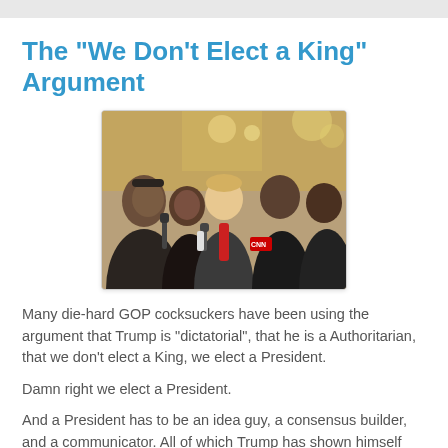The "We Don't Elect a King" Argument
[Figure (photo): Group of people including a man in a suit with a red tie speaking at microphones, surrounded by several other individuals in an indoor setting.]
Many die-hard GOP cocksuckers have been using the argument that Trump is "dictatorial", that he is a Authoritarian,  that we don't elect a King, we elect a President.
Damn right we elect a President.
And a President has to be an idea guy, a consensus builder, and a communicator. All of which Trump has shown himself